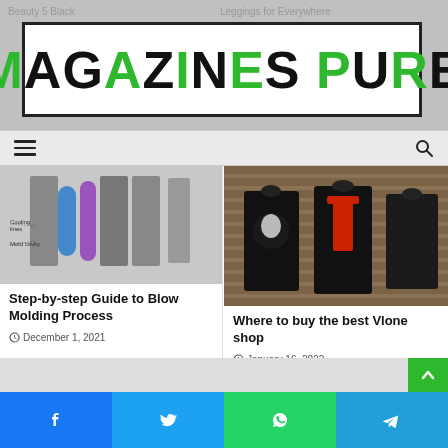[Figure (logo): Magazines Pure logo in black and green hand-drawn style letters inside a bordered box]
[Figure (screenshot): Navigation bar with hamburger menu icon on left and search magnifying glass icon on right]
[Figure (illustration): Blow molding process diagram showing mold cavity, cooling lines, and stages of bottle formation]
Step-by-step Guide to Blow Molding Process
December 1, 2021
[Figure (photo): Photo of Vlone graphic t-shirts hanging on a rack against a wooden slatwall]
Where to buy the best Vlone shop
January 16, 2022
[Figure (infographic): Social share bar with Facebook, Twitter, WhatsApp, and Telegram buttons]